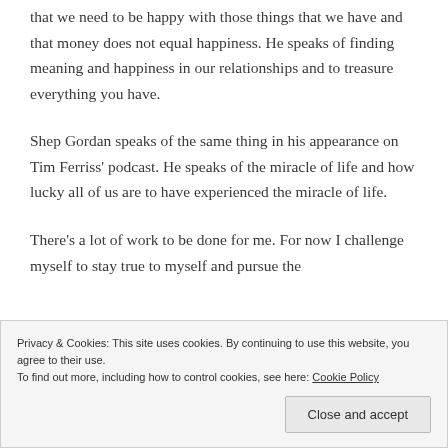that we need to be happy with those things that we have and that money does not equal happiness. He speaks of finding meaning and happiness in our relationships and to treasure everything you have.
Shep Gordan speaks of the same thing in his appearance on Tim Ferriss' podcast. He speaks of the miracle of life and how lucky all of us are to have experienced the miracle of life.
There's a lot of work to be done for me. For now I challenge myself to stay true to myself and pursue the
Privacy & Cookies: This site uses cookies. By continuing to use this website, you agree to their use.
To find out more, including how to control cookies, see here: Cookie Policy